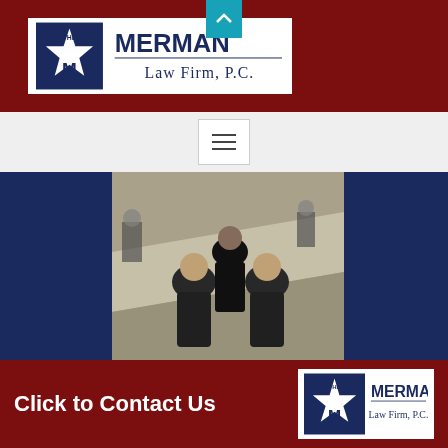[Figure (logo): The Merman Law Firm, P.C. logo with star emblem, white background, dark maroon header bar]
[Figure (other): Navigation hamburger menu icon on light gray bar]
[Figure (photo): Video thumbnail showing people walking in a corridor, appears to be surveillance footage. Caption: Roberts v. Jefferson]
Roberts v. Jefferson
Click to Contact Us
[Figure (logo): The Merman Law Firm, P.C. small logo in footer]